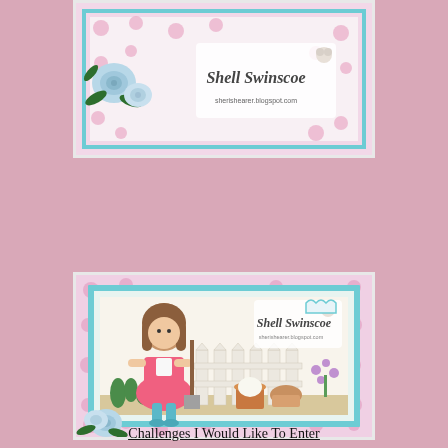[Figure (photo): A handmade craft card with a floral pink pattern background, paper roses, green leaves, and a Shell Swinscoe watermark/logo. Blog address sherishearer.blogspot.com visible at bottom.]
[Figure (photo): A handmade craft card showing an illustrated girl in a pink dress and teal boots holding a shovel, standing by a white picket fence with flower pots and garden plants. Floral pink patterned border with teal matting. Shell Swinscoe watermark visible.]
Challenges I Would Like To Enter